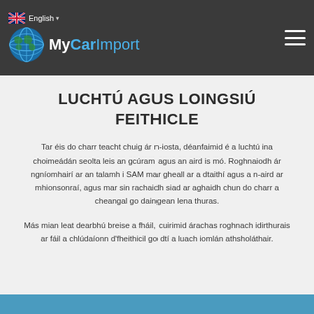English | MyCarImport
LUCHTÚ AGUS LOINGSIÚ FEITHICLE
Tar éis do charr teacht chuig ár n-iosta, déanfaimid é a luchtú ina choimeádán seolta leis an gcúram agus an aird is mó. Roghnaiodh ár ngníomhairí ar an talamh i SAM mar gheall ar a dtaithí agus a n-aird ar mhionsonraí, agus mar sin rachaidh siad ar aghaidh chun do charr a cheangal go daingean lena thuras.
Más mian leat dearbhú breise a fháil, cuirimid árachas roghnach idirthurais ar fáil a chlúdaíonn d'fheithicil go dtí a luach iomlán athsholáthair.